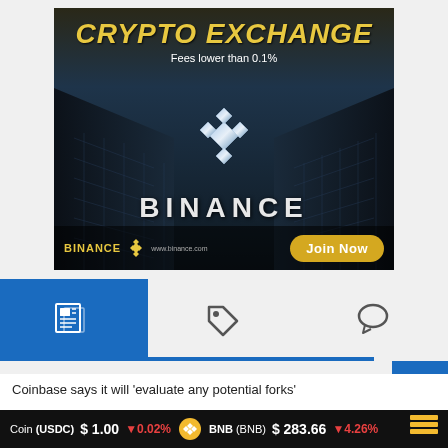[Figure (illustration): Binance crypto exchange advertisement banner. Dark background with building silhouettes. Text: 'CRYPTO EXCHANGE' in gold italic, 'Fees lower than 0.1%' in white. Binance diamond logo in center. 'BINANCE' text in large letters. Footer shows BINANCE logo, www.binance.com URL, and gold 'Join Now' button.]
[Figure (screenshot): Website tab navigation bar with three tabs: active news/article tab (blue background with newspaper icon), tag/price icon tab, and chat/comment bubble icon tab.]
Coinbase says it will 'evaluate any potential forks'
Coin (USDC) $1.00 ↓0.02%   BNB (BNB) $283.66 ↓4.26%